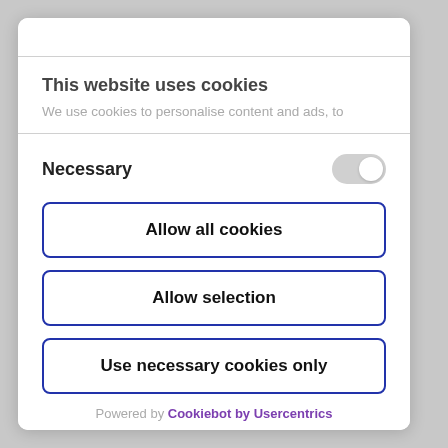This website uses cookies
We use cookies to personalise content and ads, to
Necessary
Allow all cookies
Allow selection
Use necessary cookies only
Powered by Cookiebot by Usercentrics